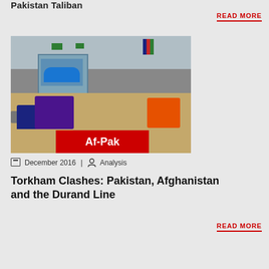Pakistan Taliban
READ MORE
[Figure (photo): Border crossing scene at Torkham with Pakistani and Afghan flags, trucks and crowds of people crossing, with an arch gateway building, labeled Af-Pak]
Af-Pak
December 2016 | Analysis
Torkham Clashes: Pakistan, Afghanistan and the Durand Line
READ MORE